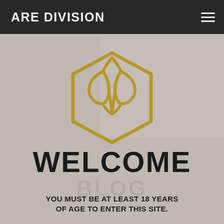ARE DIVISION
[Figure (logo): Hexagonal logo with stylized interlinked drop/letter shapes in gold/bronze color on a light background, overlaid on a photo of dropper bottles with a gray translucent overlay]
WELCOME
BLOG
YOU MUST BE AT LEAST 18 YEARS OF AGE TO ENTER THIS SITE.